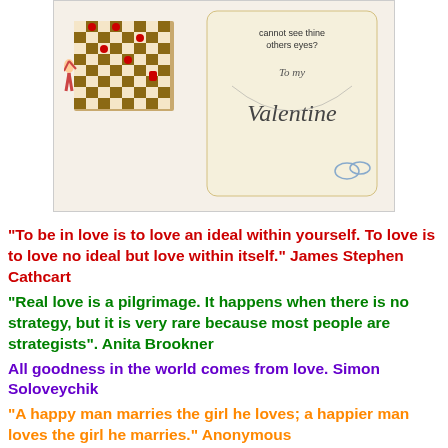[Figure (illustration): Vintage Valentine's Day card showing a child playing chess on a chessboard, with a decorative scroll reading 'To my Valentine' and text 'cannot see thine others eyes?']
“To be in love is to love an ideal within yourself. To love is to love no ideal but love within itself.” James Stephen Cathcart
“Real love is a pilgrimage. It happens when there is no strategy, but it is very rare because most people are strategists”. Anita Brookner
All goodness in the world comes from love. Simon Soloveychik
“A happy man marries the girl he loves; a happier man loves the girl he marries.” Anonymous
“Hatred paralyzes life; love releases it. Hatred